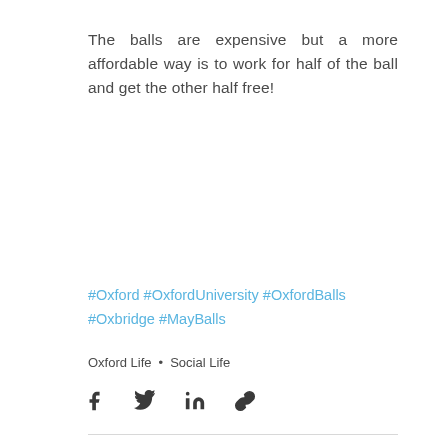The balls are expensive but a more affordable way is to work for half of the ball and get the other half free!
#Oxford #OxfordUniversity #OxfordBalls #Oxbridge #MayBalls
Oxford Life · Social Life